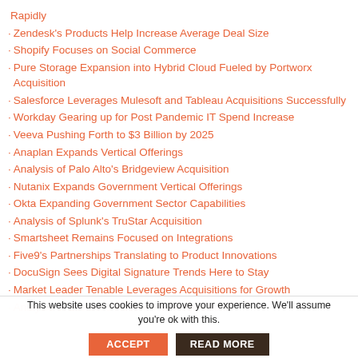Rapidly
Zendesk's Products Help Increase Average Deal Size
Shopify Focuses on Social Commerce
Pure Storage Expansion into Hybrid Cloud Fueled by Portworx Acquisition
Salesforce Leverages Mulesoft and Tableau Acquisitions Successfully
Workday Gearing up for Post Pandemic IT Spend Increase
Veeva Pushing Forth to $3 Billion by 2025
Anaplan Expands Vertical Offerings
Analysis of Palo Alto's Bridgeview Acquisition
Nutanix Expands Government Vertical Offerings
Okta Expanding Government Sector Capabilities
Analysis of Splunk's TruStar Acquisition
Smartsheet Remains Focused on Integrations
Five9's Partnerships Translating to Product Innovations
DocuSign Sees Digital Signature Trends Here to Stay
Market Leader Tenable Leverages Acquisitions for Growth
Analysis of Zscaler's Recent Two Acquisitions
This website uses cookies to improve your experience. We'll assume you're ok with this.
ACCEPT
READ MORE